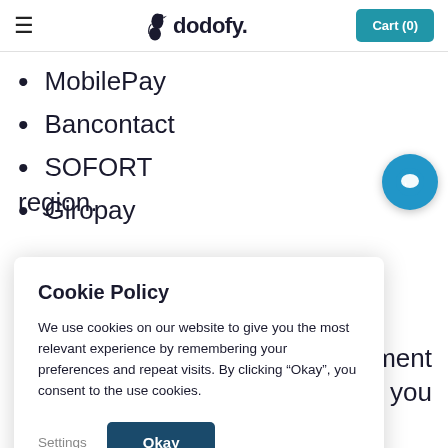dodofy. Cart (0)
MobilePay
Bancontact
SOFORT
Giropay
Cookie Policy
We use cookies on our website to give you the most relevant experience by remembering your preferences and repeat visits. By clicking “Okay”, you consent to the use cookies.
Settings  Okay
rment on you region.